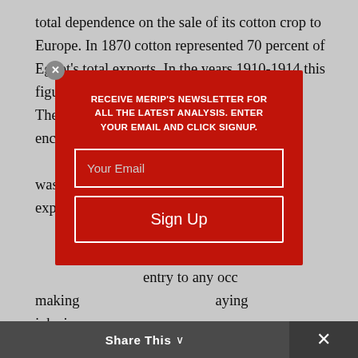total dependence on the sale of its cotton crop to Europe. In 1870 cotton represented 70 percent of Egypt's total exports. In the years 1910-1914 this figure rose to 93 percent. [3] The British also initiated legislation which encour…alist produc…rvee was ab… expans…ral wage la…onal Permits…ning guild m…entry to any occ… making…aying jobs in… provide…ation
[Figure (screenshot): Newsletter signup modal overlay on red background with headline 'RECEIVE MERIP'S NEWSLETTER FOR ALL THE LATEST ANALYSIS. ENTER YOUR EMAIL AND CLICK SIGNUP.' with email input and Sign Up button.]